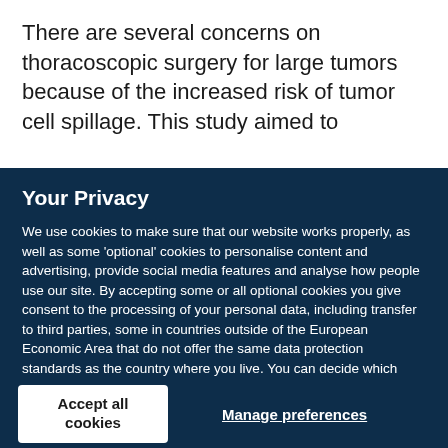There are several concerns on thoracoscopic surgery for large tumors because of the increased risk of tumor cell spillage. This study aimed to
Your Privacy
We use cookies to make sure that our website works properly, as well as some 'optional' cookies to personalise content and advertising, provide social media features and analyse how people use our site. By accepting some or all optional cookies you give consent to the processing of your personal data, including transfer to third parties, some in countries outside of the European Economic Area that do not offer the same data protection standards as the country where you live. You can decide which optional cookies to accept by clicking on 'Manage Settings', where you can also find more information about how your personal data is processed. Further information can be found in our privacy policy.
Accept all cookies
Manage preferences